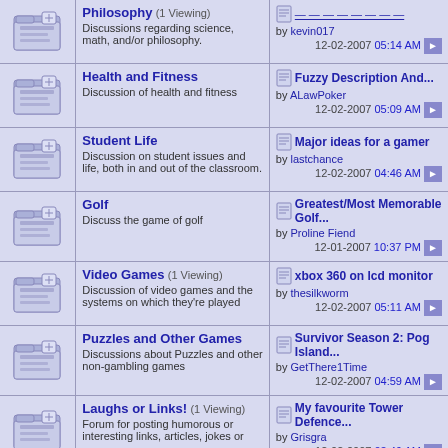Philosophy (1 Viewing) - Discussions regarding science, math, and/or philosophy. Last post: by kevin017, 12-02-2007 05:14 AM
Health and Fitness - Discussion of health and fitness. Last post: Fuzzy Description And... by ALawPoker, 12-02-2007 05:09 AM
Student Life - Discussion on student issues and life, both in and out of the classroom. Last post: Major ideas for a gamer by lastchance, 12-02-2007 04:46 AM
Golf - Discuss the game of golf. Last post: Greatest/Most Memorable Golf... by Proline Fiend, 12-01-2007 10:37 PM
Video Games (1 Viewing) - Discussion of video games and the systems on which they're played. Last post: xbox 360 on lcd monitor by thesilkworm, 12-02-2007 05:11 AM
Puzzles and Other Games - Discussions about Puzzles and other non-gambling games. Last post: Survivor Season 2: Pog Island... by GetThere1Time, 12-02-2007 04:59 AM
Laughs or Links! (1 Viewing) - Forum for posting humorous or interesting links, articles, jokes or. Last post: My favourite Tower Defence... by Grisgra, 12-02-2007 02:46 AM